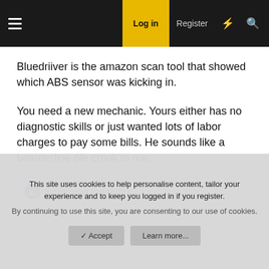Log in | Register
Bluedriiver is the amazon scan tool that showed which ABS sensor was kicking in.

You need a new mechanic. Yours either has no diagnostic skills or just wanted lots of labor charges to pay some bills. He sounds like a boarderline ole crook to me.
turblediesel and Ambra
This site uses cookies to help personalise content, tailor your experience and to keep you logged in if you register.
By continuing to use this site, you are consenting to our use of cookies.
Accept | Learn more...